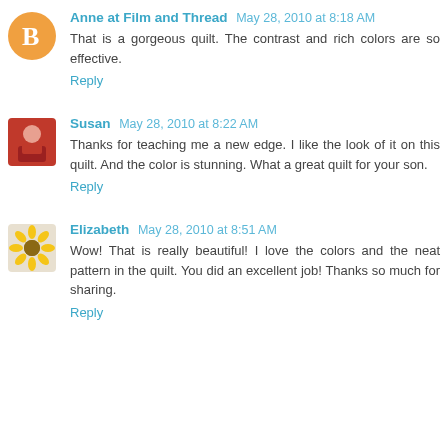Anne at Film and Thread  May 28, 2010 at 8:18 AM
That is a gorgeous quilt. The contrast and rich colors are so effective.
Reply
Susan  May 28, 2010 at 8:22 AM
Thanks for teaching me a new edge. I like the look of it on this quilt. And the color is stunning. What a great quilt for your son.
Reply
Elizabeth  May 28, 2010 at 8:51 AM
Wow! That is really beautiful! I love the colors and the neat pattern in the quilt. You did an excellent job! Thanks so much for sharing.
Reply